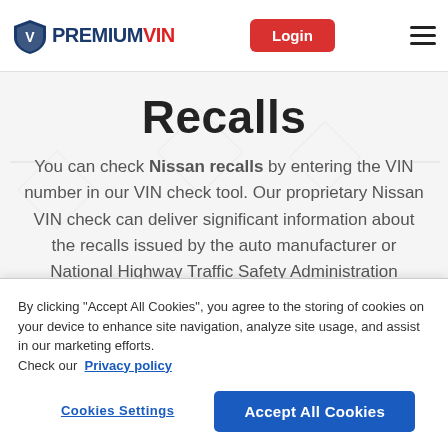[Figure (logo): PremiumVIN logo with shield icon and stylized text: PREMIUM in dark blue, VIN in red]
Login
Recalls
You can check Nissan recalls by entering the VIN number in our VIN check tool. Our proprietary Nissan VIN check can deliver significant information about the recalls issued by the auto manufacturer or National Highway Traffic Safety Administration (NHTSA)
By clicking "Accept All Cookies", you agree to the storing of cookies on your device to enhance site navigation, analyze site usage, and assist in our marketing efforts.
Check our Privacy policy
Cookies Settings
Accept All Cookies